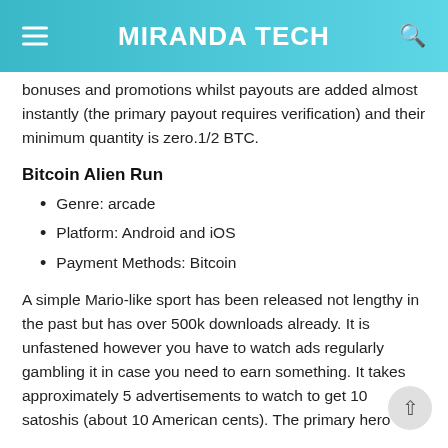MIRANDA TECH
bonuses and promotions whilst payouts are added almost instantly (the primary payout requires verification) and their minimum quantity is zero.1/2 BTC.
Bitcoin Alien Run
Genre: arcade
Platform: Android and iOS
Payment Methods: Bitcoin
A simple Mario-like sport has been released not lengthy in the past but has over 500k downloads already. It is unfastened however you have to watch ads regularly gambling it in case you need to earn something. It takes approximately 5 advertisements to watch to get 10 satoshis (about 10 American cents). The primary hero of